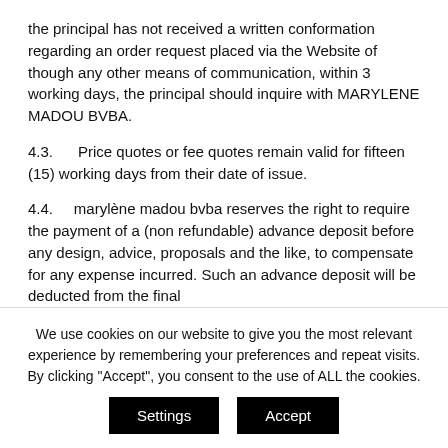the principal has not received a written conformation regarding an order request placed via the Website of though any other means of communication, within 3 working days, the principal should inquire with MARYLENE MADOU BVBA.
4.3.    Price quotes or fee quotes remain valid for fifteen (15) working days from their date of issue.
4.4.    marylène madou bvba reserves the right to require the payment of a (non refundable) advance deposit before any design, advice, proposals and the like, to compensate for any expense incurred. Such an advance deposit will be deducted from the final
We use cookies on our website to give you the most relevant experience by remembering your preferences and repeat visits. By clicking "Accept", you consent to the use of ALL the cookies.